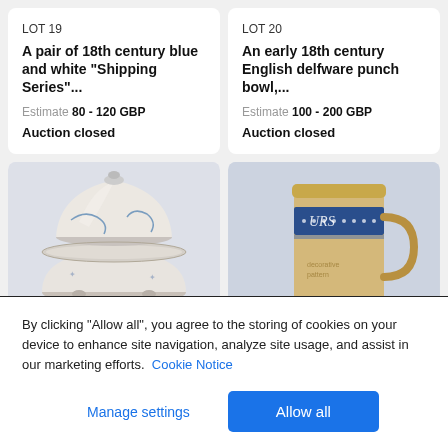LOT 19
A pair of 18th century blue and white "Shipping Series"...
Estimate 80 - 120 GBP
Auction closed
LOT 20
An early 18th century English delfware punch bowl,...
Estimate 100 - 200 GBP
Auction closed
[Figure (photo): A blue and white ceramic bowl with decorative lid, photographed against a light grey background]
[Figure (photo): A stoneware beer mug with blue decorative band and handle, photographed against a light blue-grey background]
By clicking “Allow all”, you agree to the storing of cookies on your device to enhance site navigation, analyze site usage, and assist in our marketing efforts. Cookie Notice
Manage settings
Allow all